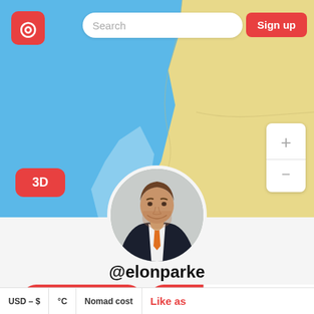[Figure (screenshot): Map background with blue (ocean/sea) on left and yellow/tan (land) on right]
Search
Sign up
3D
[Figure (photo): Circular profile photo of a man in a dark suit with an orange tie, smiling slightly]
@elonparke
Send a message
Follow
Messages
USD – $
°C
Nomad cost
Like as